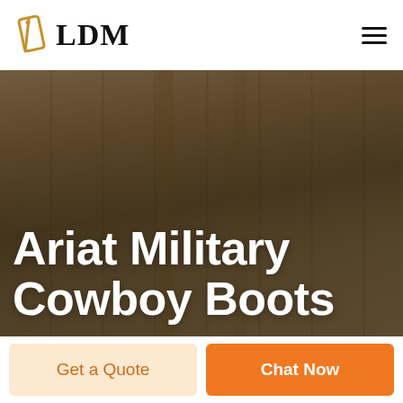LDM
[Figure (photo): Blurred warehouse or industrial interior background with dark brown/warm tones]
Ariat Military Cowboy Boots
Get a Quote
Chat Now